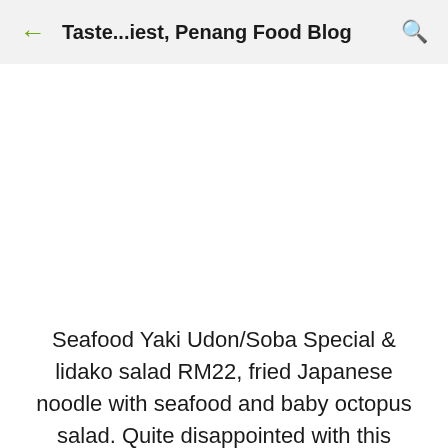Taste...iest, Penang Food Blog
[Figure (photo): White/blank image area (photo not loaded or missing)]
Seafood Yaki Udon/Soba Special & lidako salad RM22, fried Japanese noodle with seafood and baby octopus salad. Quite disappointed with this